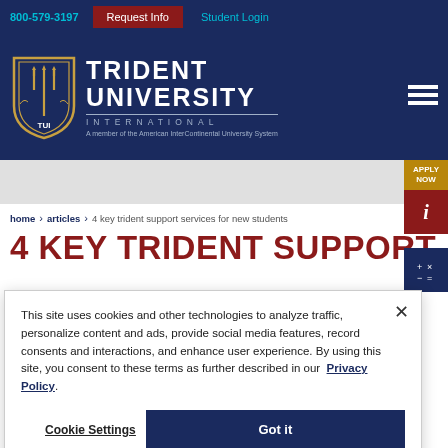800-579-3197  Request Info  Student Login
[Figure (logo): Trident University International logo with shield emblem and text: TRIDENT UNIVERSITY INTERNATIONAL, A member of the American InterContinental University System]
home > articles > 4 key trident support services for new students
4 KEY TRIDENT SUPPORT
This site uses cookies and other technologies to analyze traffic, personalize content and ads, provide social media features, record consents and interactions, and enhance user experience. By using this site, you consent to these terms as further described in our Privacy Policy.
Cookie Settings  Got it